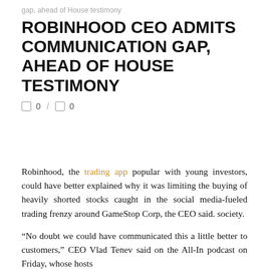gap, ahead of House testimony
ROBINHOOD CEO ADMITS COMMUNICATION GAP, AHEAD OF HOUSE TESTIMONY
0 / 0
Robinhood, the trading app popular with young investors, could have better explained why it was limiting the buying of heavily shorted stocks caught in the social media-fueled trading frenzy around GameStop Corp, the CEO said. society.
“No doubt we could have communicated this a little better to customers,” CEO Vlad Tenev said on the All-In podcast on Friday, whose hosts